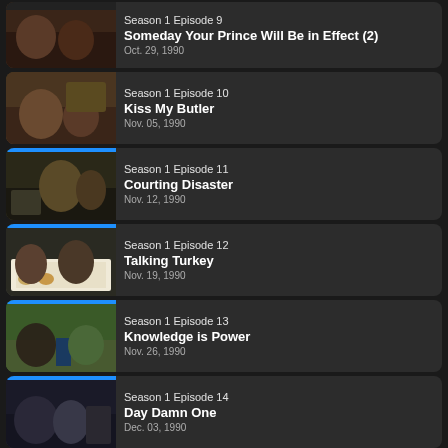Season 1 Episode 9 | Someday Your Prince Will Be in Effect (2) | Oct. 29, 1990
Season 1 Episode 10 | Kiss My Butler | Nov. 05, 1990
Season 1 Episode 11 | Courting Disaster | Nov. 12, 1990
Season 1 Episode 12 | Talking Turkey | Nov. 19, 1990
Season 1 Episode 13 | Knowledge is Power | Nov. 26, 1990
Season 1 Episode 14 | Day Damn One | Dec. 03, 1990
Season 1 Episode 15